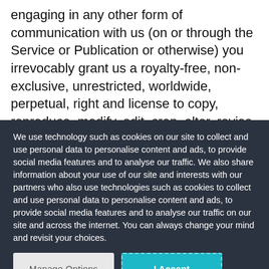engaging in any other form of communication with us (on or through the Service or Publication or otherwise) you irrevocably grant us a royalty-free, non-exclusive, unrestricted, worldwide, perpetual, right and license to copy, reproduce, modify, edit, crop, alter, revise, adapt, translate, enhance, reformat, remix, rearrange, resize, create
We use technology such as cookies on our site to collect and use personal data to personalise content and ads, to provide social media features and to analyse our traffic. We also share information about your use of our site and interests with our partners who also use technologies such as cookies to collect and use personal data to personalise content and ads, to provide social media features and to analyse our traffic on our site and across the internet. You can always change your mind and revisit your choices.